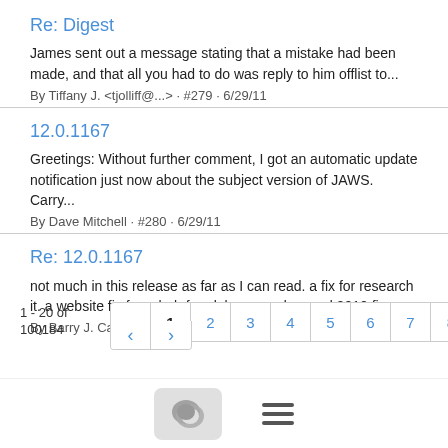Re: Digest
James sent out a message stating that a mistake had been made, and that all you had to do was reply to him offlist to...
By Tiffany J. <tjolliff@...> · #279 · 6/29/11
12.0.1167
Greetings: Without further comment, I got an automatic update notification just now about the subject version of JAWS. Carry...
By Dave Mitchell · #280 · 6/29/11
Re: 12.0.1167
not much in this release as far as I can read. a fix for research it. a website fix for rehab for alabama and a word 2010 fix.
By Barry J. Campbell <Barry.J.Campbell@...> · #281 · 6/29/11
1 - 20 of 100184
[Figure (screenshot): Pagination controls showing pages 1 through 8 with navigation arrows, and a bottom toolbar with chat bubble icon and hamburger menu]